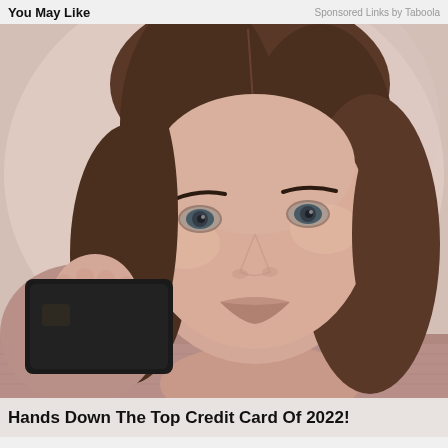You May Like    Sponsored Links by Taboola
[Figure (photo): Advertisement photo of a young woman with brown hair, blue eyes, and smoky eye makeup, wearing a mauve/pink off-shoulder knit sweater, holding up a dark credit card against a soft pink/beige background.]
Hands Down The Top Credit Card Of 2022!